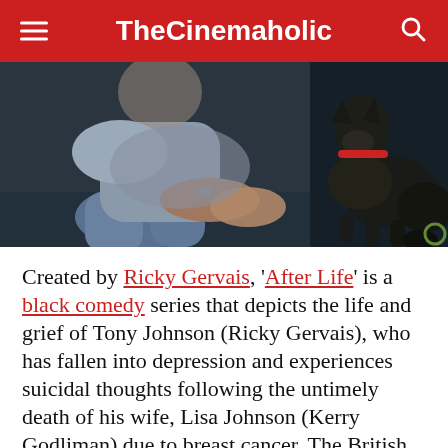TheCinemaholic
[Figure (photo): A person crouching with hands clasped, with a dark-colored dog on the right side, against a dark background. Appears to be a promotional or editorial photo related to the TV series 'After Life'.]
Created by Ricky Gervais, 'After Life' is a black comedy series that depicts the life and grief of Tony Johnson (Ricky Gervais), who has fallen into depression and experiences suicidal thoughts following the untimely death of his wife, Lisa Johnson (Kerry Godliman) due to breast cancer. The British drama series first premiered on March 8, 2019, on Netflix and was lauded for its